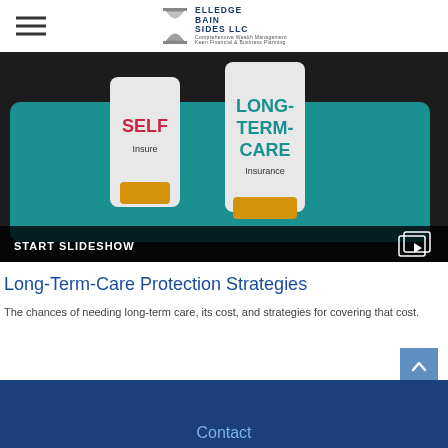Elledge Bain Sides LLC — Comprehensive Wealth Management, Keen Financial Business Planning
[Figure (photo): Photo of two pill bottle-style containers on a teal tablet surface — one labeled 'SELF Insure' in red, one labeled 'LONG-TERM-CARE Insurance' in teal — with a 'START SLIDESHOW' bar at the bottom]
Long-Term-Care Protection Strategies
The chances of needing long-term care, its cost, and strategies for covering that cost.
Contact